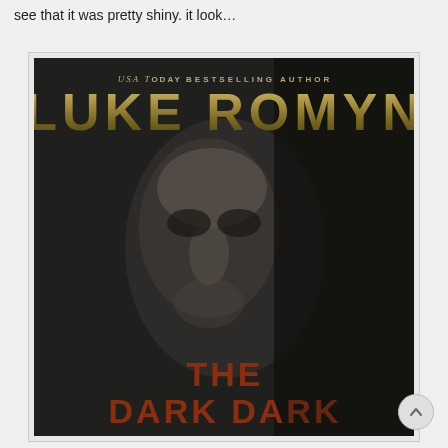see that it was pretty shiny. it look…
[Figure (illustration): Book cover for 'The Dark [title]' by Luke Romyn. USA Today Bestselling Author text at top. Large gold/metallic stylized text 'LUKE ROMYN' below byline. Dark textured background with a shadowed human face emerging from darkness in the center. Bold red/orange title text at the bottom reading 'THE DARK [...]'.]